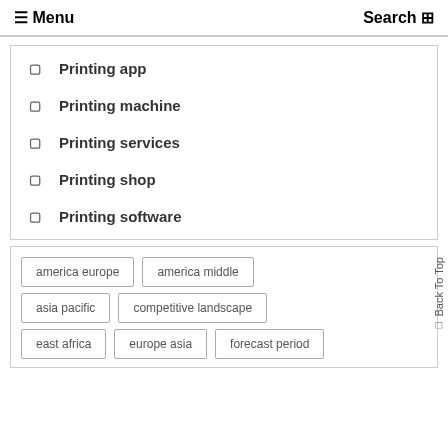Menu   Search
Printing app
Printing machine
Printing services
Printing shop
Printing software
america europe
america middle
asia pacific
competitive landscape
east africa
europe asia
forecast period